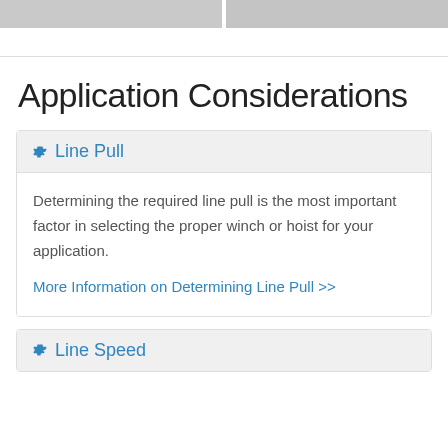[Figure (other): Two gray navigation buttons at top of page]
Application Considerations
Line Pull
Determining the required line pull is the most important factor in selecting the proper winch or hoist for your application.
More Information on Determining Line Pull >>
Line Speed